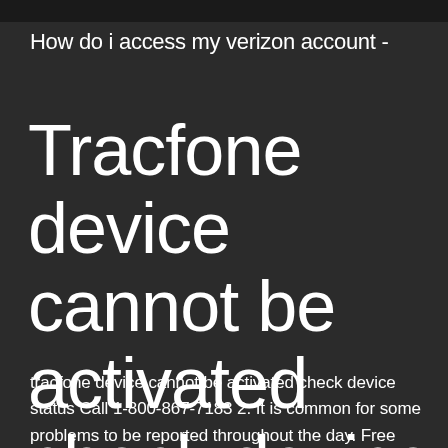How do i access my verizon account -
Tracfone device cannot be activated check device status
tracfone device cannot be activated check device status Call 1-800-867-7183 2. It is common for some problems to be reported throughout the day. Free returns are available